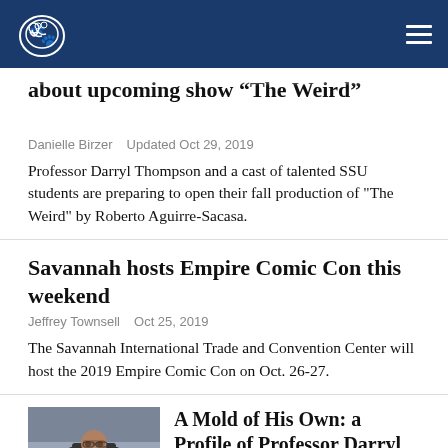SSU student newspaper header with logo and navigation menu
A Q&A with Professor Darryl Thompson about upcoming show “The Weird”
Danielle Birzer   Updated Oct 29, 2019
Professor Darryl Thompson and a cast of talented SSU students are preparing to open their fall production of "The Weird" by Roberto Aguirre-Sacasa.
Savannah hosts Empire Comic Con this weekend
Jeffrey Townsell   Oct 25, 2019
The Savannah International Trade and Convention Center will host the 2019 Empire Comic Con on Oct. 26-27.
[Figure (photo): Photo of Professor Darryl Thompson sitting at a desk]
A Mold of His Own: a Profile of Professor Darryl Thompson
Danielle Birzer   Oct 23, 2019
Professor Darryl Thompson is anything but